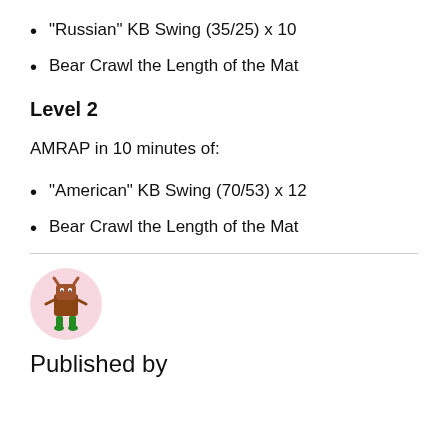“Russian” KB Swing (35/25) x 10
Bear Crawl the Length of the Mat
Level 2
AMRAP in 10 minutes of:
“American” KB Swing (70/53) x 12
Bear Crawl the Length of the Mat
[Figure (illustration): Small cartoon monster character with brown body, horns, and green legs on a pink circular background]
Published by